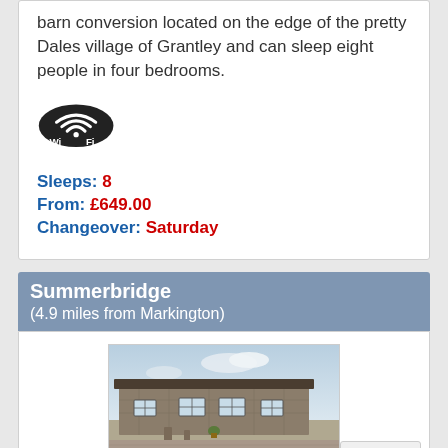barn conversion located on the edge of the pretty Dales village of Grantley and can sleep eight people in four bedrooms.
[Figure (logo): WiFi logo icon — black oval with Wi-Fi signal waves and text 'Wi Fi']
Sleeps: 8
From: £649.00
Changeover: Saturday
Summerbridge
(4.9 miles from Markington)
[Figure (photo): Photo of a stone barn conversion building with multiple windows, small courtyard area, and cloudy sky above.]
TOP